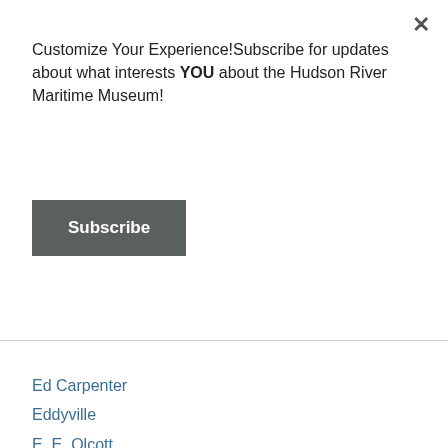Customize Your Experience!Subscribe for updates about what interests YOU about the Hudson River Maritime Museum!
Subscribe
Ed Carpenter
Eddyville
E. E. Olcott
Electricity
Elevators
Environmental History
Environmental Preservation
Epidemics
Erie-canal
Erie-railroad-company
Esopus-creek
Esopus-island
Esopus-meadows-lighthouse